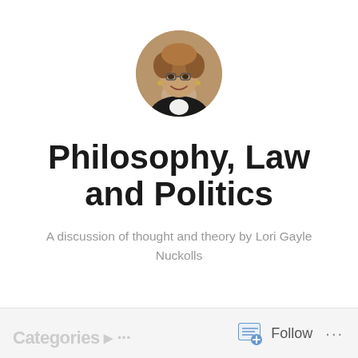[Figure (photo): Circular profile photo of a woman with curly reddish-brown hair, wearing glasses and a dark jacket, smiling.]
Philosophy, Law and Politics
A discussion of thought and theory by Lori Gayle Nuckolls